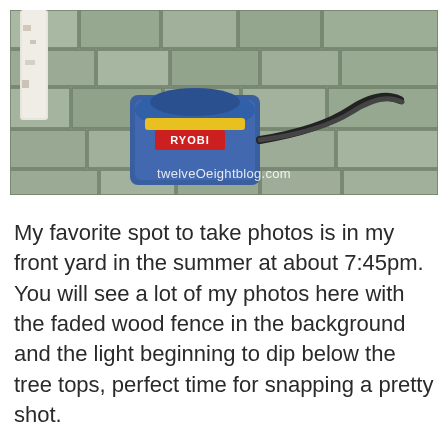[Figure (photo): A RYOBI electric orbital sander sitting on a stone paver patio, with a white painted furniture leg visible in the upper left. The sander is blue with a yellow accent and a black power cord. Watermark reads 'twelveOeightblog.com'.]
My favorite spot to take photos is in my front yard in the summer at about 7:45pm.  You will see a lot of my photos here with the faded wood fence in the background and the light beginning to dip below the tree tops, perfect time for snapping a pretty shot.